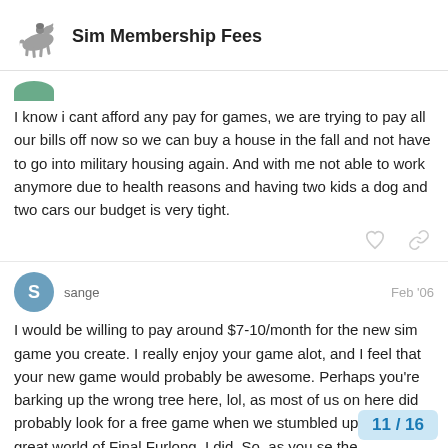Sim Membership Fees
I know i cant afford any pay for games, we are trying to pay all our bills off now so we can buy a house in the fall and not have to go into military housing again. And with me not able to work anymore due to health reasons and having two kids a dog and two cars our budget is very tight.
sange Feb '06
I would be willing to pay around $7-10/month for the new sim game you create. I really enjoy your game alot, and I feel that your new game would probably be awesome. Perhaps you're barking up the wrong tree here, lol, as most of us on here did probably look for a free game when we stumbled upon the great world of Final Furlong. I did. So, as you se the comments, most here aren't very willin
11 / 16